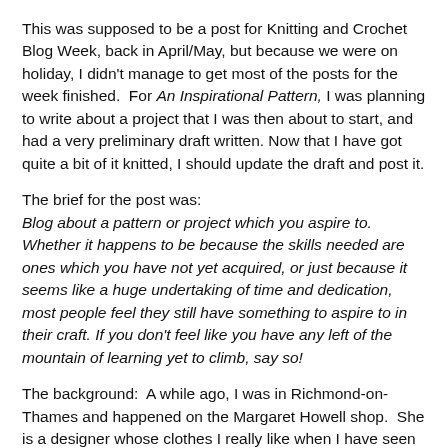This was supposed to be a post for Knitting and Crochet Blog Week, back in April/May, but because we were on holiday, I didn't manage to get most of the posts for the week finished.  For An Inspirational Pattern, I was planning to write about a project that I was then about to start, and had a very preliminary draft written. Now that I have got quite a bit of it knitted, I should update the draft and post it.
The brief for the post was:
Blog about a pattern or project which you aspire to. Whether it happens to be because the skills needed are ones which you have not yet acquired, or just because it seems like a huge undertaking of time and dedication, most people feel they still have something to aspire to in their craft. If you don't feel like you have any left of the mountain of learning yet to climb, say so!
The background:  A while ago, I was in Richmond-on-Thames and happened on the Margaret Howell shop.  She is a designer whose clothes I really like when I have seen them featured in magazines, though way beyond my price range.  So I went in to take a look (no harm in just looking).  There